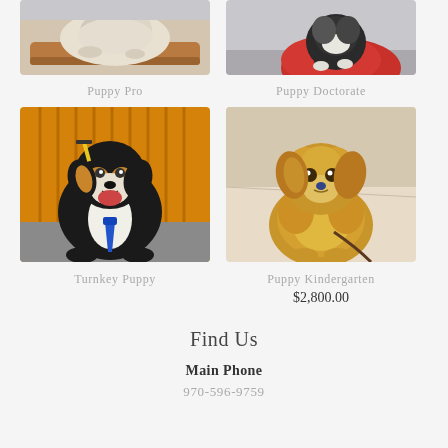[Figure (photo): Two dog photos side by side in top row: left - fluffy white puppy lying on wooden surface (Puppy Pro), right - black and grey puppy sitting on red ball (Puppy Doctorate)]
Puppy Pro
Puppy Doctorate
[Figure (photo): Two dog photos side by side in bottom row: left - black dog wearing blue tie and graduation cap (Turnkey Puppy), right - golden fluffy puppy sitting with leash (Puppy Kindergarten)]
Turnkey Puppy
Puppy Kindergarten
$2,800.00
Find Us
Main Phone
970-596-9759